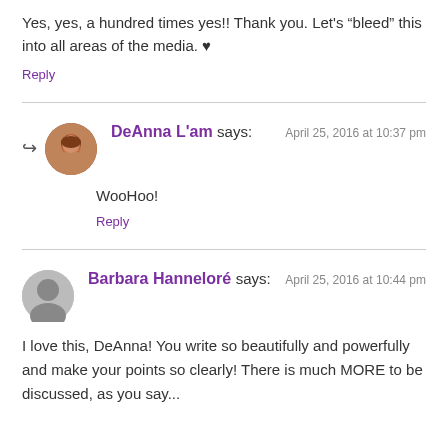Yes, yes, a hundred times yes!! Thank you. Let’s “bleed” this into all areas of the media. ♥
Reply
DeAnna L'am says: April 25, 2016 at 10:37 pm
WooHoo!
Reply
Barbara Hanneloré says: April 25, 2016 at 10:44 pm
I love this, DeAnna! You write so beautifully and powerfully and make your points so clearly! There is much MORE to be discussed, as you say...